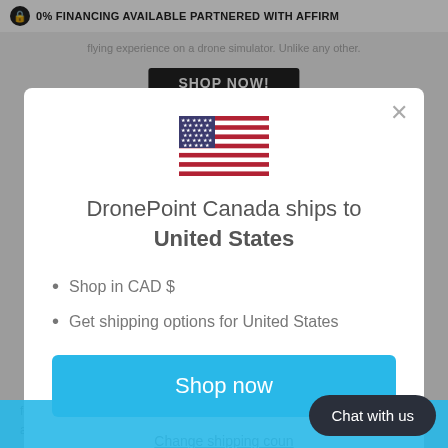0% FINANCING AVAILABLE PARTNERED WITH AFFIRM
[Figure (screenshot): Modal dialog showing US flag and DronePoint Canada shipping message]
DronePoint Canada ships to United States
Shop in CAD $
Get shipping options for United States
Shop now
Change shipping country
Chat with us
feature to help you get started with and safely.